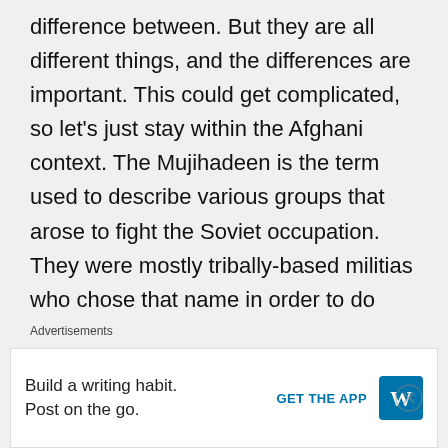difference between. But they are all different things, and the differences are important. This could get complicated, so let's just stay within the Afghani context. The Mujihadeen is the term used to describe various groups that arose to fight the Soviet occupation. They were mostly tribally-based militias who chose that name in order to do what just about every side in every conflict in history has sought to do – co-opt God to their side. Not too
Advertisements
Build a writing habit. Post on the go.
GET THE APP